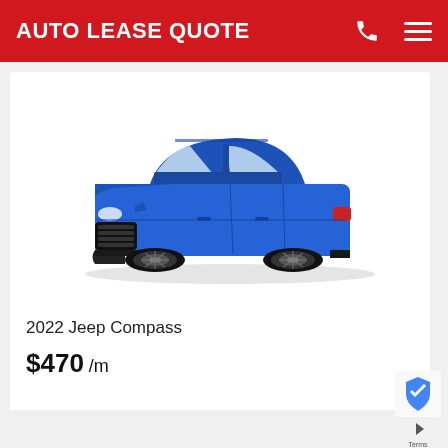AUTO LEASE QUOTE
[Figure (photo): Blue 2022 Jeep Compass SUV viewed from a front three-quarter angle on a white background]
2022 Jeep Compass
$470 /m